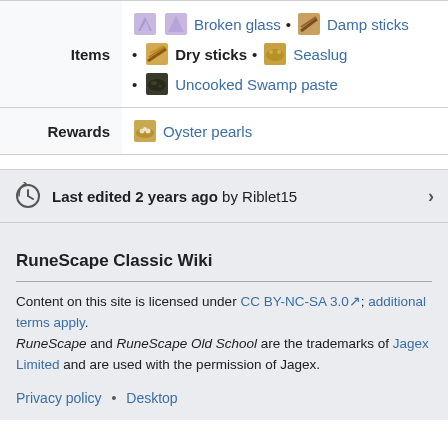|  |  |
| --- | --- |
| Items | Broken glass • Damp sticks • Dry sticks • Seaslug • Uncooked Swamp paste |
| Rewards | Oyster pearls |
Last edited 2 years ago by Riblet15
RuneScape Classic Wiki
Content on this site is licensed under CC BY-NC-SA 3.0; additional terms apply. RuneScape and RuneScape Old School are the trademarks of Jagex Limited and are used with the permission of Jagex.
Privacy policy • Desktop